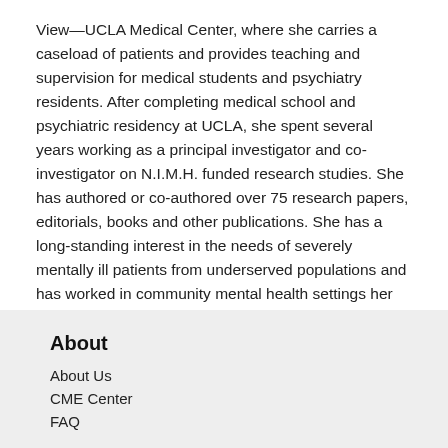View—UCLA Medical Center, where she carries a caseload of patients and provides teaching and supervision for medical students and psychiatry residents. After completing medical school and psychiatric residency at UCLA, she spent several years working as a principal investigator and co-investigator on N.I.M.H. funded research studies. She has authored or co-authored over 75 research papers, editorials, books and other publications. She has a long-standing interest in the needs of severely mentally ill patients from underserved populations and has worked in community mental health settings her entire career.
Full Editorial Information
About
About Us
CME Center
FAQ